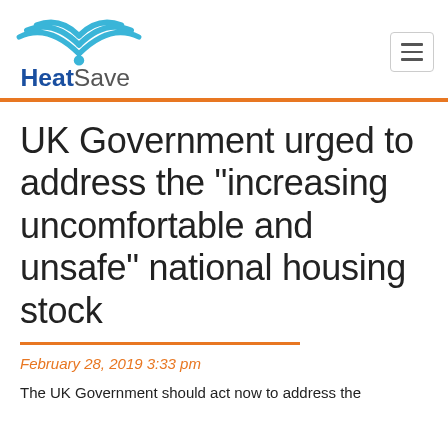HeatSave
UK Government urged to address the “Increasing uncomfortable and unsafe” national housing stock
February 28, 2019 3:33 pm
The UK Government should act now to address the